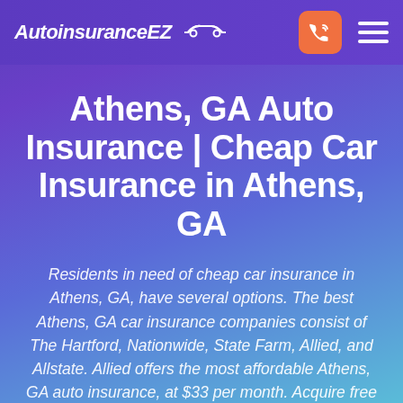AutoinsuranceEZ
Athens, GA Auto Insurance | Cheap Car Insurance in Athens, GA
Residents in need of cheap car insurance in Athens, GA, have several options. The best Athens, GA car insurance companies consist of The Hartford, Nationwide, State Farm, Allied, and Allstate. Allied offers the most affordable Athens, GA auto insurance, at $33 per month. Acquire free Athens, GA auto